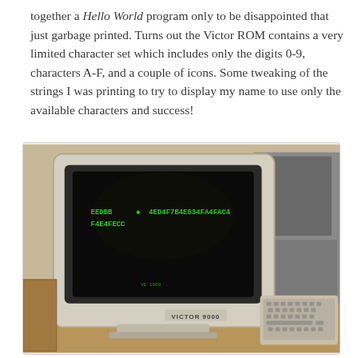together a Hello World program only to be disappointed that just garbage printed. Turns out the Victor ROM contains a very limited character set which includes only the digits 0-9, characters A-F, and a couple of icons. Some tweaking of the strings I was printing to try to display my name to use only the available characters and success!
[Figure (photo): A Victor 9000 vintage computer monitor on a wooden desk displaying green text on a black screen. The monitor is beige/cream colored with 'VICTOR 9000' label. A keyboard is visible to the right. Other vintage computer equipment is visible in the background.]